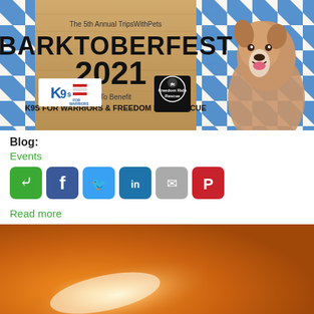[Figure (photo): Barktoberfest 2021 event banner. Blue and white diamond pattern background, wooden texture. Text reads: 'The 5th Annual TripsWithPets BARKTOBERFEST 2021 To Benefit K9S FOR WARRIORS & FREEDOM RIDE RESCUE'. Logos for K9s for Warriors and Freedom Ride Rescue are shown. A smiling brown and white pit bull dog is on the right side.]
Blog:
Events
[Figure (infographic): Row of social sharing buttons: share (green), Facebook (blue), Twitter (light blue), LinkedIn (dark blue), email (gray), Pinterest (red)]
Read more
[Figure (photo): Orange gradient background image, partially visible, with a bright white glowing light streak across the middle.]